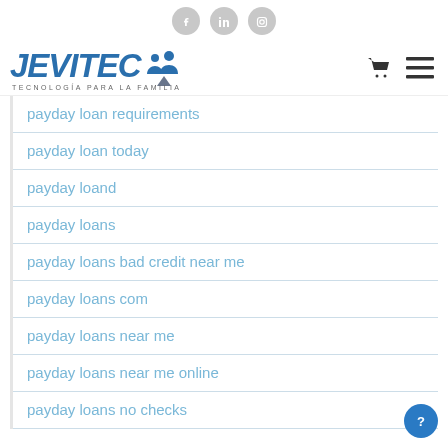Social icons: Facebook, LinkedIn, Instagram
[Figure (logo): JEVITEC logo with tagline TECNOLOGÍA PARA LA FAMILIA, blue bold italic text with people icon, shopping cart and hamburger menu icons on right]
payday loan requirements
payday loan today
payday loand
payday loans
payday loans bad credit near me
payday loans com
payday loans near me
payday loans near me online
payday loans no checks